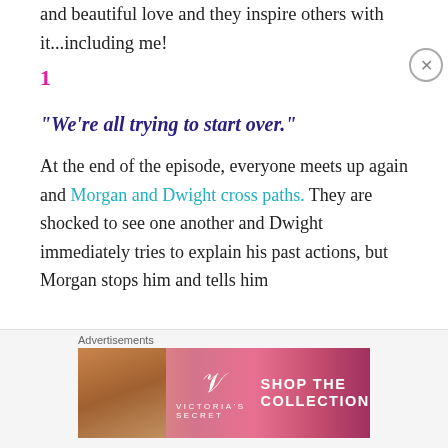and beautiful love and they inspire others with it...including me!
1
“We’re all trying to start over.”
At the end of the episode, everyone meets up again and Morgan and Dwight cross paths. They are shocked to see one another and Dwight immediately tries to explain his past actions, but Morgan stops him and tells him
[Figure (other): Victoria's Secret advertisement banner with model, VS logo, 'SHOP THE COLLECTION' text and 'SHOP NOW' button]